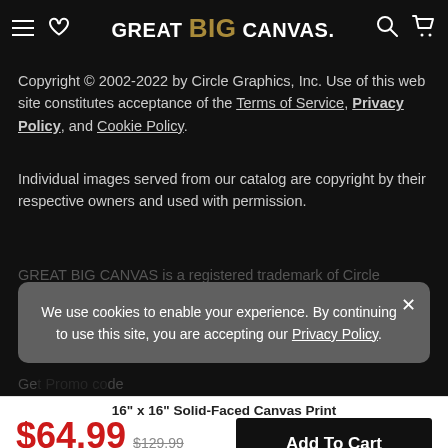GREAT BIG CANVAS (navigation header with hamburger menu, heart icon, logo, search, and cart icons)
Copyright © 2002-2022 by Circle Graphics, Inc. Use of this web site constitutes acceptance of the Terms of Service, Privacy Policy, and Cookie Policy.
Individual images served from our catalog are copyright by their respective owners and used with permission.
GREAT BIG CANVAS is a registered trademark of Circle Graphics, Inc.
We use cookies to enable your experience. By continuing to use this site, you are accepting our Privacy Policy.
16" x 16" Solid-Faced Canvas Print
$64.99  $129.99  50% OFF - Ends Soon!
Add To Cart